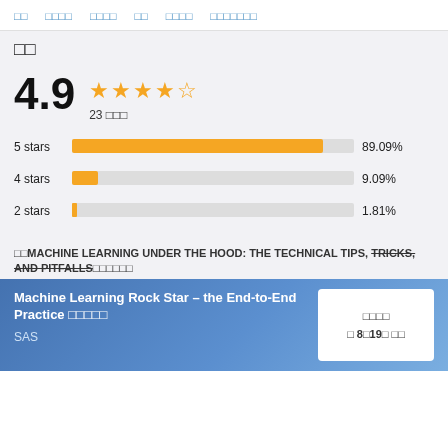□□  □□□□  □□□□  □□  □□□□  □□□□□□□
□□
4.9  ★★★★☆  23 □□□
[Figure (bar-chart): Rating distribution]
□□MACHINE LEARNING UNDER THE HOOD: THE TECHNICAL TIPS, TRICKS, AND PITFALLS□□□□□□
Machine Learning Rock Star – the End-to-End Practice □□□□□
SAS
□□□□
□ 8□19□ □□